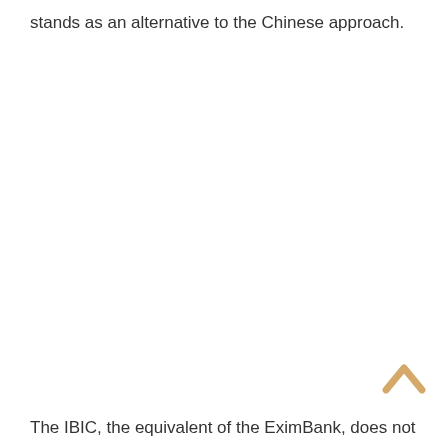stands as an alternative to the Chinese approach.
[Figure (other): Scroll-to-top chevron arrow icon in golden/tan color]
The IBIC, the equivalent of the EximBank, does not